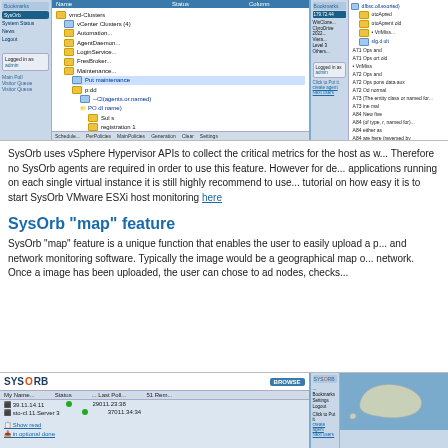[Figure (screenshot): Two side-by-side screenshots of SysOrb web interface showing VMware ESXi host monitoring with tree view of virtual machines and folders]
SysOrb uses vSphere Hypervisor APIs to collect the critical metrics for the host as w... Therefore no SysOrb agents are required in order to use this feature. However for de... applications running on each single virtual instance it is still highly recommend to use... tutorial on how easy it is to start SysOrb VMware ESXi host monitoring here
SysOrb "map" feature
SysOrb "map" feature is a unique function that enables the user to easily upload a p... and network monitoring software. Typically the image would be a geographical map o... network. Once a image has been uploaded, the user can chose to ad nodes, checks...
[Figure (screenshot): Two side-by-side screenshots of SysOrb map feature interface showing node list and geographical map of Iceland]